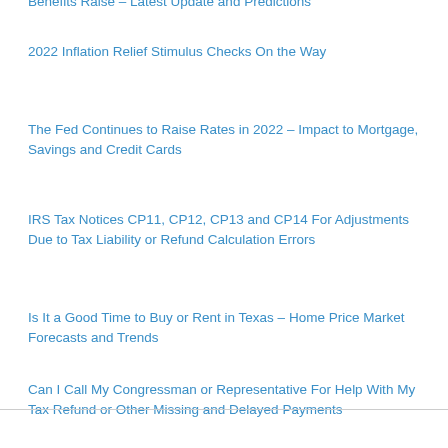Benefits Raise – Latest Update and Predictions
2022 Inflation Relief Stimulus Checks On the Way
The Fed Continues to Raise Rates in 2022 – Impact to Mortgage, Savings and Credit Cards
IRS Tax Notices CP11, CP12, CP13 and CP14 For Adjustments Due to Tax Liability or Refund Calculation Errors
Is It a Good Time to Buy or Rent in Texas – Home Price Market Forecasts and Trends
Can I Call My Congressman or Representative For Help With My Tax Refund or Other Missing and Delayed Payments